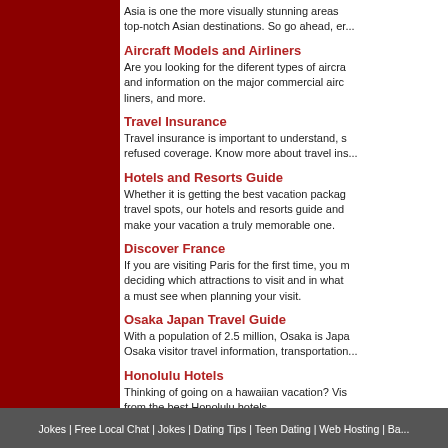Asia is one the more visually stunning areas ... top-notch Asian destinations. So go ahead, er...
Aircraft Models and Airliners
Are you looking for the diferent types of aircra... and information on the major commercial airc... liners, and more.
Travel Insurance
Travel insurance is important to understand, s... refused coverage. Know more about travel ins...
Hotels and Resorts Guide
Whether it is getting the best vacation packag... travel spots, our hotels and resorts guide and... make your vacation a truly memorable one.
Discover France
If you are visiting Paris for the first time, you m... deciding which attractions to visit and in what... a must see when planning your visit.
Osaka Japan Travel Guide
With a population of 2.5 million, Osaka is Japa... Osaka visitor travel information, transportation...
Honolulu Hotels
Thinking of going on a hawaiian vacation? Vis... from the best Honolulu hotels.
Dubai Travel
Dubai is the second largest of the emirates co... information on Dubai travel, Dubai sightseeing...
Page  2  of  2
Jokes | Free Local Chat | Jokes | Dating Tips | Teen Dating | Web Hosting | Ba...